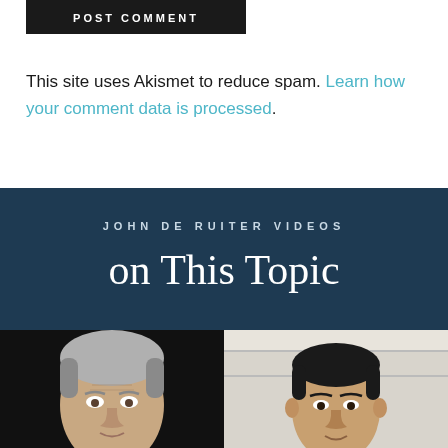[Figure (screenshot): POST COMMENT button — black background with white uppercase text]
This site uses Akismet to reduce spam. Learn how your comment data is processed.
JOHN DE RUITER VIDEOS
on This Topic
[Figure (photo): Two-panel photo: left panel shows an older man with gray hair against a dark background; right panel shows a younger dark-haired man in a light interior setting.]